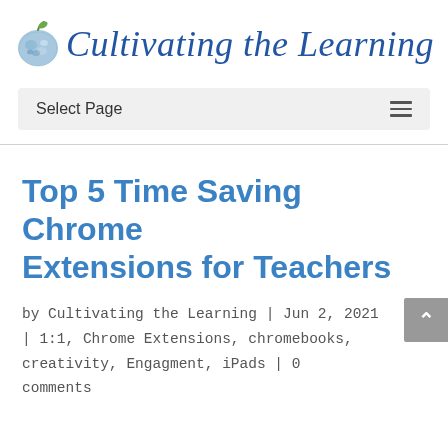[Figure (logo): Cultivating the Learning blog logo with an apple icon and cursive blue text]
Select Page
Top 5 Time Saving Chrome Extensions for Teachers
by Cultivating the Learning | Jun 2, 2021 | 1:1, Chrome Extensions, chromebooks, creativity, Engagment, iPads | 0 comments